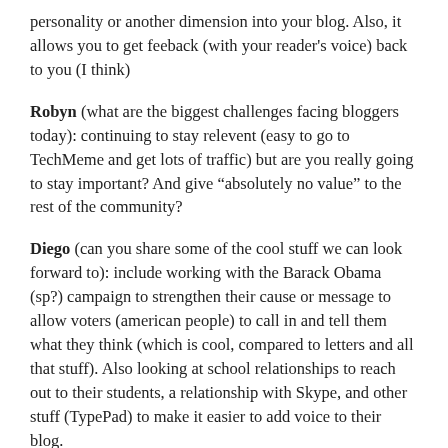personality or another dimension into your blog. Also, it allows you to get feeback (with your reader's voice) back to you (I think)
Robyn (what are the biggest challenges facing bloggers today): continuing to stay relevent (easy to go to TechMeme and get lots of traffic) but are you really going to stay important? And give “absolutely no value” to the rest of the community?
Diego (can you share some of the cool stuff we can look forward to): include working with the Barack Obama (sp?) campaign to strengthen their cause or message to allow voters (american people) to call in and tell them what they think (which is cool, compared to letters and all that stuff). Also looking at school relationships to reach out to their students, a relationship with Skype, and other stuff (TypePad) to make it easier to add voice to their blog.